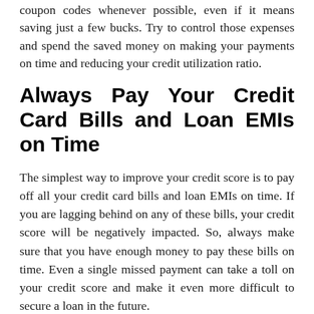coupon codes whenever possible, even if it means saving just a few bucks. Try to control those expenses and spend the saved money on making your payments on time and reducing your credit utilization ratio.
Always Pay Your Credit Card Bills and Loan EMIs on Time
The simplest way to improve your credit score is to pay off all your credit card bills and loan EMIs on time. If you are lagging behind on any of these bills, your credit score will be negatively impacted. So, always make sure that you have enough money to pay these bills on time. Even a single missed payment can take a toll on your credit score and make it even more difficult to secure a loan in the future.